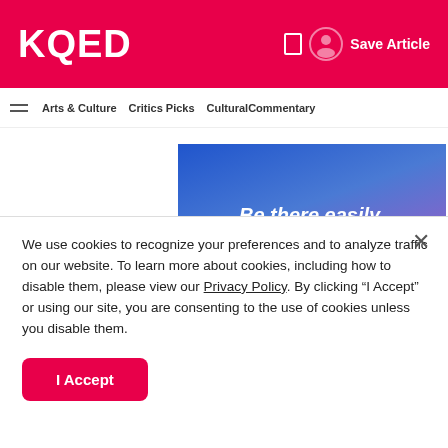KQED
Save Article
Arts & Culture   Critics Picks   CulturalCommentary
[Figure (illustration): Blue-to-purple gradient advertisement banner with italic white text reading: Be there easily, relaxed, and on-time]
[Figure (photo): Partial photo showing a person with arm raised, against a light pink/grey background]
We use cookies to recognize your preferences and to analyze traffic on our website. To learn more about cookies, including how to disable them, please view our Privacy Policy. By clicking “I Accept” or using our site, you are consenting to the use of cookies unless you disable them.
I Accept